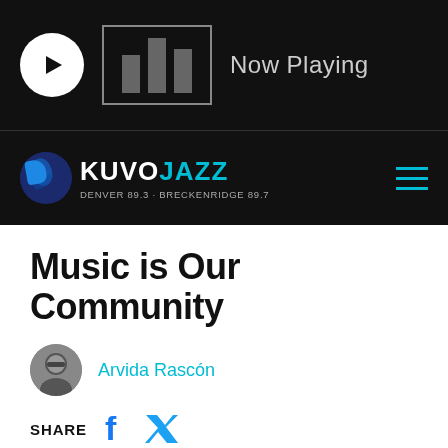[Figure (screenshot): Radio player bar with play button (white circle with triangle), bar chart icon in a box, and 'Now Playing' text on black background]
[Figure (logo): KUVO JAZZ radio station logo with globe icon, text KUVO in white and JAZZ in cyan, subtext DENVER 89.3 · BRECKENRIDGE 89.7, on black navbar with cyan hamburger menu]
Music is Our Community
Arvida Rascón
SHARE
[Figure (photo): Dark photo at bottom showing people, partially visible]